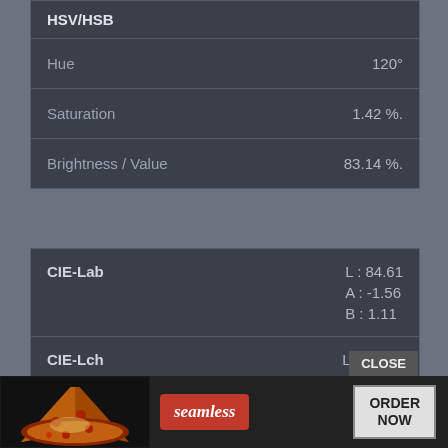HSV/HSB
| Property | Value |
| --- | --- |
| Hue | 120° |
| Saturation | 1.42 %. |
| Brightness / Value | 83.14 %. |
| Model | Component | Value |
| --- | --- | --- |
| CIE-Lab | L | 84.61 |
| CIE-Lab | A | -1.56 |
| CIE-Lab | B | 1.11 |
| CIE-Lch | L | 84.61 |
| CIE-Lch | C | 1.92 |
| CIE-Lch | H | 144.5 |
| CIE-Luv | L | 84.61 |
| CIE-Luv | U | - |
[Figure (screenshot): Seamless food delivery advertisement banner with pizza image, seamless logo, and ORDER NOW button]
CLOSE